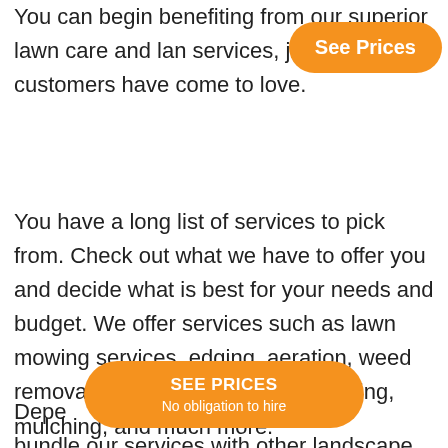You can begin benefiting from our superior lawn care and landscape services, just our many customers have come to love.
You have a long list of services to pick from. Check out what we have to offer you and decide what is best for your needs and budget. We offer services such as lawn mowing services, edging, aeration, weed removal, fertilization, seeding, sodding, mulching, and much more.
Depe...408 bundle our services with other landscape